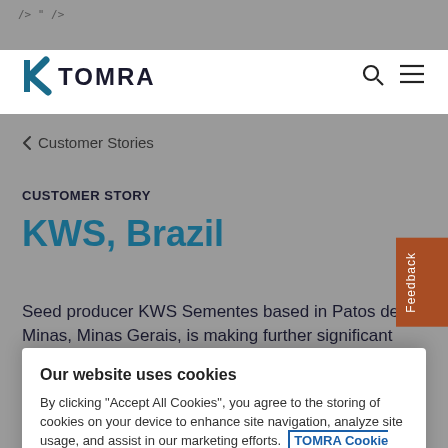/> " />
[Figure (logo): TOMRA company logo with stylized K/R icon and TOMRA wordmark]
< Customer Stories
CUSTOMER STORY
KWS, Brazil
Seed producer KWS Sementes based in Patos de Minas, Minas Gerais, is making further significant
Feedback
Our website uses cookies
By clicking "Accept All Cookies", you agree to the storing of cookies on your device to enhance site navigation, analyze site usage, and assist in our marketing efforts. TOMRA Cookie Policy